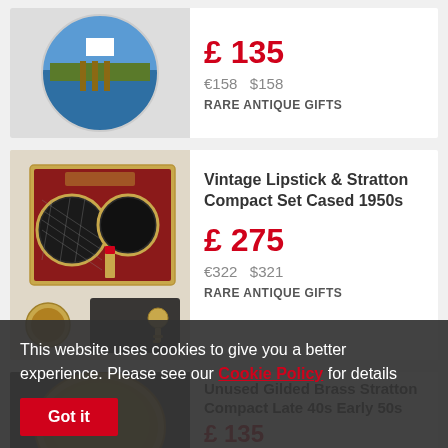[Figure (photo): Round decorative compact or paperweight with a scenic lakeside/dock photo on top, partially visible at top of page]
£ 135
€158   $158
RARE ANTIQUE GIFTS
[Figure (photo): Vintage Lipstick & Stratton Compact Set in a gold-trimmed box with red interior, showing round compacts with diamond pattern and lipstick, plus a black pouch and gold key charm]
Vintage Lipstick & Stratton Compact Set Cased 1950s
£ 275
€322   $321
RARE ANTIQUE GIFTS
[Figure (photo): Gilded brass Stratton compact, partially visible, dark background]
Unused Gilded Brass Stratton Compact Late 40s Early 50s
£ 135
€158   €158
This website uses cookies to give you a better experience. Please see our Cookie Policy for details
Got it